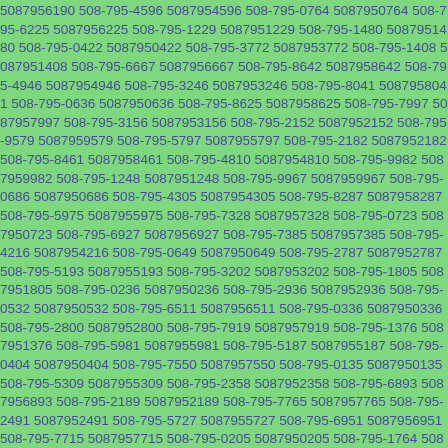5087956190 508-795-4596 5087954596 508-795-0764 5087950764 508-795-6225 5087956225 508-795-1229 5087951229 508-795-1480 5087951480 508-795-0422 5087950422 508-795-3772 5087953772 508-795-1408 5087951408 508-795-6667 5087956667 508-795-8642 5087958642 508-795-4946 5087954946 508-795-3246 5087953246 508-795-8041 5087958041 508-795-0636 5087950636 508-795-8625 5087958625 508-795-7997 5087957997 508-795-3156 5087953156 508-795-2152 5087952152 508-795-9579 5087959579 508-795-5797 5087955797 508-795-2182 5087952182 508-795-8461 5087958461 508-795-4810 5087954810 508-795-9982 5087959982 508-795-1248 5087951248 508-795-9967 5087959967 508-795-0686 5087950686 508-795-4305 5087954305 508-795-8287 5087958287 508-795-5975 5087955975 508-795-7328 5087957328 508-795-0723 5087950723 508-795-6927 5087956927 508-795-7385 5087957385 508-795-4216 5087954216 508-795-0649 5087950649 508-795-2787 5087952787 508-795-5193 5087955193 508-795-3202 5087953202 508-795-1805 5087951805 508-795-0236 5087950236 508-795-2936 5087952936 508-795-0532 5087950532 508-795-6511 5087956511 508-795-0336 5087950336 508-795-2800 5087952800 508-795-7919 5087957919 508-795-1376 5087951376 508-795-5981 5087955981 508-795-5187 5087955187 508-795-0404 5087950404 508-795-7550 5087957550 508-795-0135 5087950135 508-795-5309 5087955309 508-795-2358 5087952358 508-795-6893 5087956893 508-795-2189 5087952189 508-795-7765 5087957765 508-795-2491 5087952491 508-795-5727 5087955727 508-795-6951 5087956951 508-795-7715 5087957715 508-795-0205 5087950205 508-795-1764 5087951764 508-795-